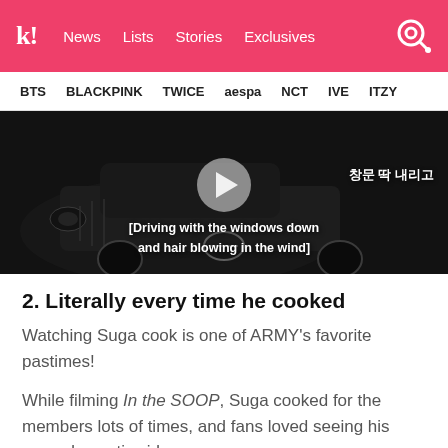koreaboo | News | Lists | Stories | Exclusives
BTS | BLACKPINK | TWICE | aespa | NCT | IVE | ITZY
[Figure (screenshot): Video thumbnail of a black car with Korean text reading 창문 딱 내리고 and English subtitle [Driving with the windows down and hair blowing in the wind], with a play button overlay]
2. Literally every time he cooked
Watching Suga cook is one of ARMY's favorite pastimes!
While filming In the SOOP, Suga cooked for the members lots of times, and fans loved seeing his more domestic side.